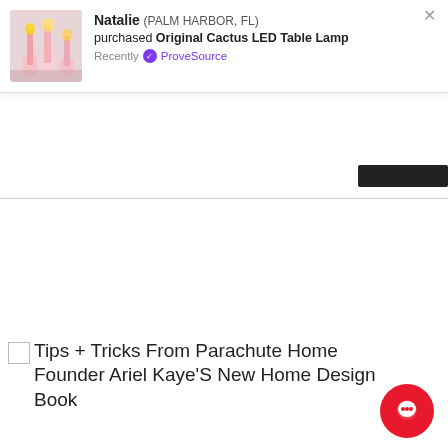[Figure (screenshot): ProveSource notification popup showing Natalie from Palm Harbor, FL purchased Original Cactus LED Table Lamp recently, with thumbnail image of lamps/candles, purple checkmark ProveSource logo, and X close button]
Tips + Tricks From Parachute Home Founder Ariel Kaye'S New Home Design Book